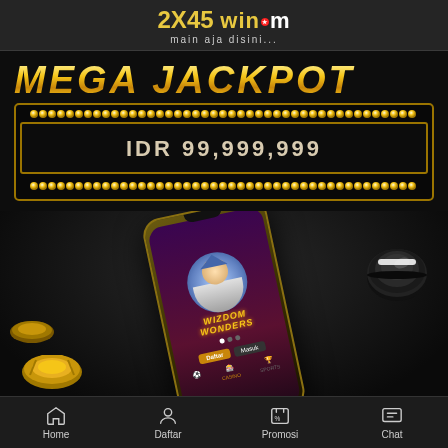[Figure (logo): 2X45win.com logo with tagline 'main aja disini...']
MEGA JACKPOT
IDR 99,999,999
[Figure (photo): Smartphone displaying Wizdom Wonders slot game with gold and black casino chips around it]
Home  Daftar  Promosi  Chat